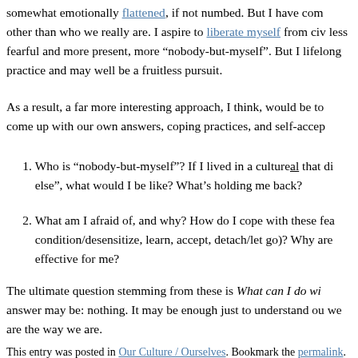somewhat emotionally flattened, if not numbed. But I have com other than who we really are. I aspire to liberate myself from civ less fearful and more present, more “nobody-but-myself”. But I lifelong practice and may well be a fruitless pursuit.
As a result, a far more interesting approach, I think, would be to come up with our own answers, coping practices, and self-accep
Who is “nobody-but-myself”? If I lived in a cultural that di else”, what would I be like? What’s holding me back?
What am I afraid of, and why? How do I cope with these fea condition/desensitize, learn, accept, detach/let go)? Why are effective for me?
The ultimate question stemming from these is What can I do wi answer may be: nothing. It may be enough just to understand ou we are the way we are.
This entry was posted in Our Culture / Ourselves. Bookmark the permalink.